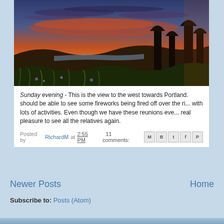[Figure (photo): Sunset landscape photo showing view to the west towards Portland, with sky in shades of orange, red and blue, trees silhouetted on the right, hills and a river visible in the distance, wildflowers in the foreground]
Sunday evening - This is the view to the west towards Portland. should be able to see some fireworks being fired off over the ri... with lots of activities. Even though we have these reunions eve... real pleasure to see all the relatives again.
Posted by RichardM at 2:55 PM   11 comments:
Newer Posts
Home
Subscribe to: Posts (Atom)